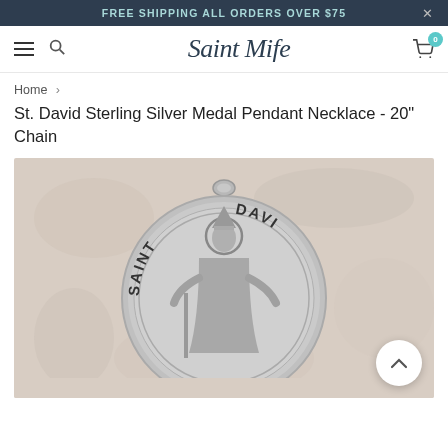FREE SHIPPING ALL ORDERS OVER $75
[Figure (logo): Saint Mife cursive script logo in dark navy color]
Home > St. David Sterling Silver Medal Pendant Necklace - 20" Chain
St. David Sterling Silver Medal Pendant Necklace - 20" Chain
[Figure (photo): Close-up photo of a sterling silver Saint David medal pendant on a beige linen background. The circular medal shows a bishop figure with halo wearing vestments, with the text SAINT on the left arc and DAVI on the right arc (partially visible).]